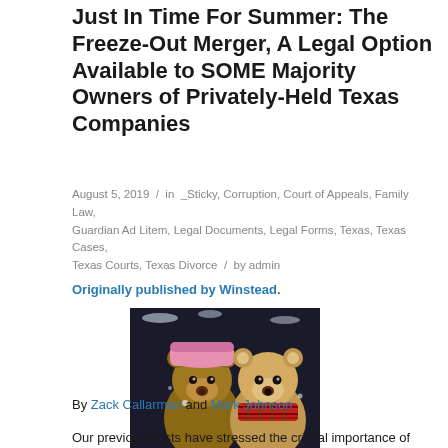Just In Time For Summer: The Freeze-Out Merger, A Legal Option Available to SOME Majority Owners of Privately-Held Texas Companies
August 5, 2019 / in _Sticky, Corruption, Court of Appeals, Family Law, Guardian Ad Litem, Legal Documents, Legal Forms, Texas, Texas Cases, Texas Courts, Texas Divorce / by admin
Originally published by Winstead.
[Figure (photo): Two teddy bears side by side against a dark background. The left bear wears a pink knit hat and the right bear wears a red plaid scarf. Snow or frost visible on their fur.]
By Zack Callarman and Mark Johnson
Our previous posts have stressed the critical importance of